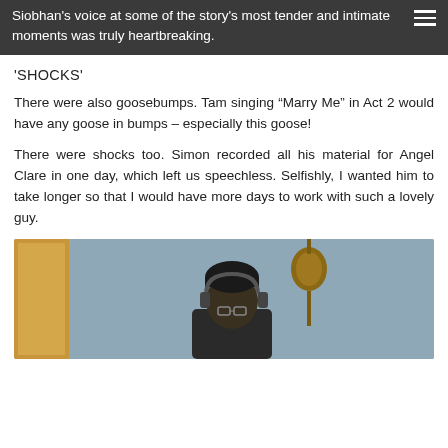Siobhan's voice at some of the story's most tender and intimate moments was truly heartbreaking.
'SHOCKS'
There were also goosebumps. Tam singing “Marry Me” in Act 2 would have any goose in bumps – especially this goose!
There were shocks too. Simon recorded all his material for Angel Clare in one day, which left us speechless. Selfishly, I wanted him to take longer so that I would have more days to work with such a lovely guy.
[Figure (photo): Person wearing headphones sitting in a recording studio, with a guitar hanging on the wall in the background and wooden door panel on the left.]